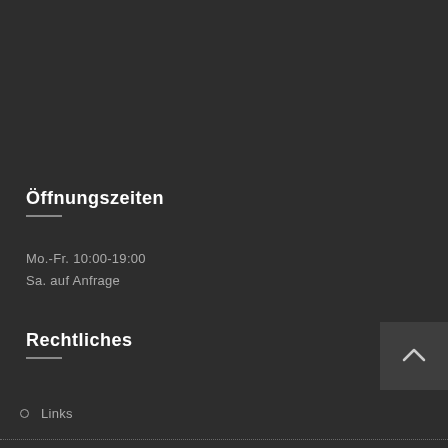Öffnungszeiten
Mo.-Fr. 10:00-19:00
Sa. auf Anfrage
Rechtliches
Links